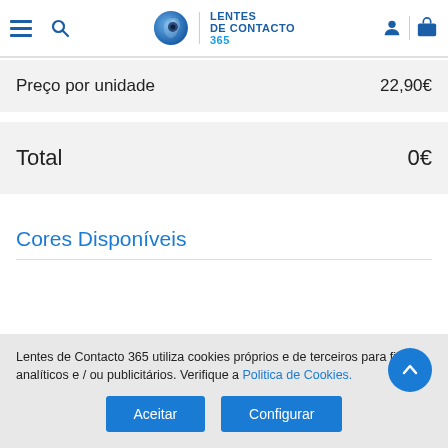Lentes de Contacto 365 — navigation header
|  |  |
| --- | --- |
| Preço por unidade | 22,90€ |
| Total | 0€ |
Cores Disponíveis
Lentes de Contacto 365 utiliza cookies próprios e de terceiros para fins analíticos e / ou publicitários. Verifique a Politica de Cookies.